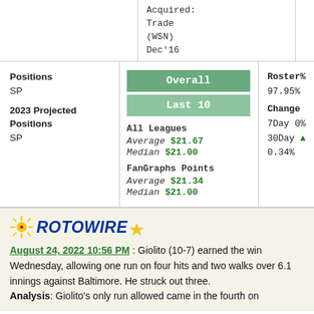| Acquired |
| --- |
| Trade (WSN) Dec'16 |
| Positions | Overall/Last 10 | Roster%/Change |
| --- | --- | --- |
| SP | Overall | Last 10 | 97.95% |
| 2023 Projected Positions | All Leagues Average $21.67 Median $21.00 FanGraphs Points Average $21.34 Median $21.00 | Change 7Day 0% 30Day ▲ 0.34% |
| SP |  |  |
[Figure (logo): RotoWire logo with sun rays icon and star]
August 24, 2022 10:56 PM : Giolito (10-7) earned the win Wednesday, allowing one run on four hits and two walks over 6.1 innings against Baltimore. He struck out three. Analysis: Giolito's only run allowed came in the fourth on